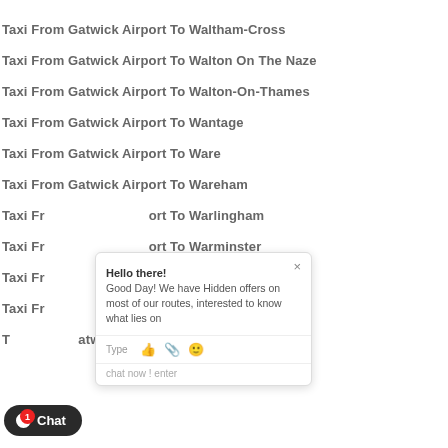Taxi From Gatwick Airport To Waltham-Cross
Taxi From Gatwick Airport To Walton On The Naze
Taxi From Gatwick Airport To Walton-On-Thames
Taxi From Gatwick Airport To Wantage
Taxi From Gatwick Airport To Ware
Taxi From Gatwick Airport To Wareham
Taxi From Gatwick Airport To Warlingham
Taxi From Gatwick Airport To Warminster
Taxi From Gatwick Airport To Warrington
Taxi From Gatwick Airport To Warwick
Taxi From Gatwick Airport To Washington
[Figure (screenshot): Chat popup overlay with message: Hello there! Good Day! We have Hidden offers on most of our routes, interested to know what lies on. With Type input bar and icons.]
[Figure (screenshot): Chat button widget at bottom left, dark rounded pill button with Chat label and red badge showing 1 notification.]